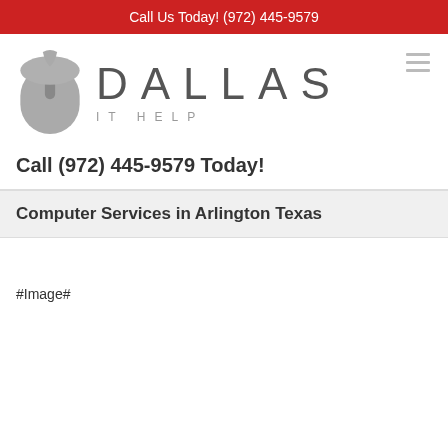Call Us Today! (972) 445-9579
[Figure (logo): Dallas IT Help logo with a computer mouse icon in grey on the left, and DALLAS in large grey letters with IT HELP in smaller spaced letters below on the right. Hamburger menu icon in top right.]
Call (972) 445-9579 Today!
Computer Services in Arlington Texas
#Image#